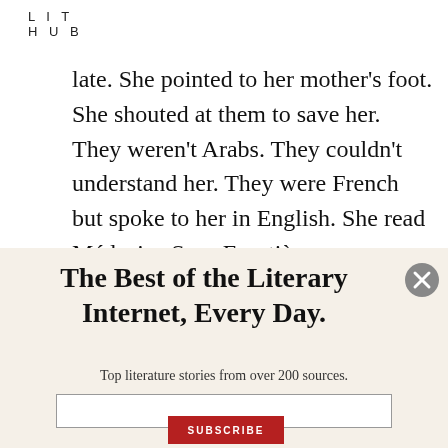LIT HUB
late. She pointed to her mother's foot. She shouted at them to save her. They weren't Arabs. They couldn't understand her. They were French but spoke to her in English. She read Médecins Sans Frontières
The Best of the Literary Internet, Every Day.
Top literature stories from over 200 sources.